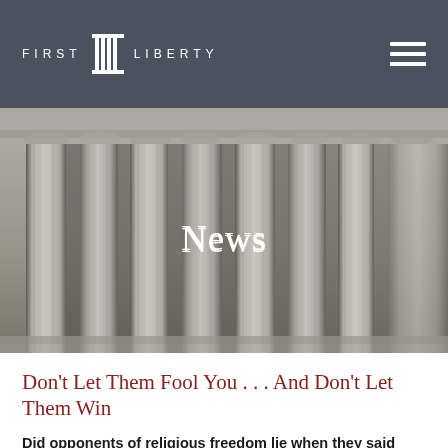FIRST LIBERTY
[Figure (photo): Black and white photograph of classical stone columns of a courthouse or government building (likely the U.S. Supreme Court), with the word 'News' overlaid in white serif text centered on the image.]
Don’t Let Them Fool You . . . And Don’t Let Them Win
Did opponents of religious freedom lie when they said your “personal” faith was safe?